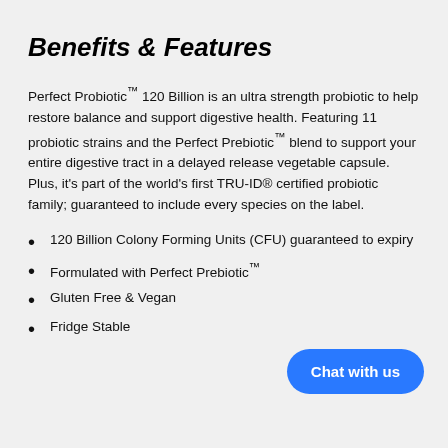Benefits & Features
Perfect Probiotic™ 120 Billion is an ultra strength probiotic to help restore balance and support digestive health. Featuring 11 probiotic strains and the Perfect Prebiotic™ blend to support your entire digestive tract in a delayed release vegetable capsule. Plus, it's part of the world's first TRU-ID® certified probiotic family; guaranteed to include every species on the label.
120 Billion Colony Forming Units (CFU) guaranteed to expiry
Formulated with Perfect Prebiotic™
Gluten Free & Vegan
Fridge Stable